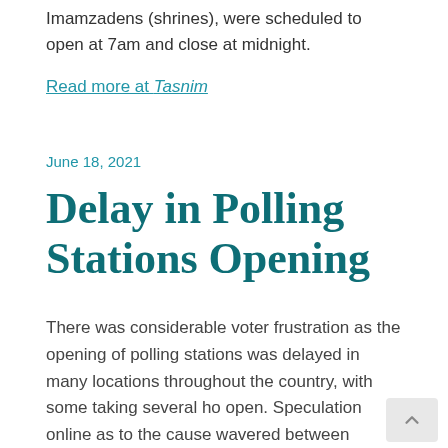Imamzadens (shrines), were scheduled to open at 7am and close at midnight.
Read more at Tasnim
June 18, 2021
Delay in Polling Stations Opening
There was considerable voter frustration as the opening of polling stations was delayed in many locations throughout the country, with some taking several ho open. Speculation online as to the cause wavered between rumours of a cyber attack, a deliberate play to